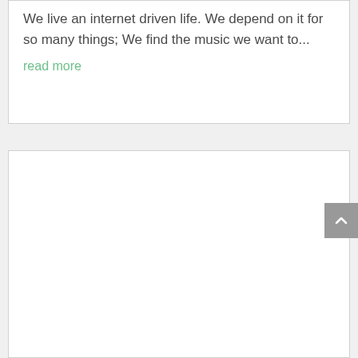We live an internet driven life. We depend on it for so many things; We find the music we want to...
read more
[Figure (other): Empty white card/box area below the article excerpt]